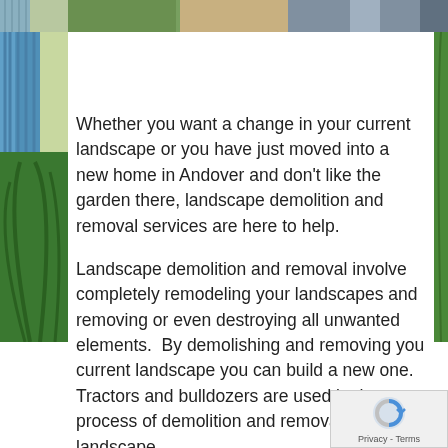[Figure (photo): Strip of landscape/garden photos at the top of the page]
[Figure (photo): Green plant/palm fronds on left side margin]
[Figure (photo): Green plant/palm fronds on right side margin]
Whether you want a change in your current landscape or you have just moved into a new home in Andover and don't like the garden there, landscape demolition and removal services are here to help.
Landscape demolition and removal involve completely remodeling your landscapes and removing or even destroying all unwanted elements.  By demolishing and removing you current landscape you can build a new one.  Tractors and bulldozers are used in the process of demolition and removal of the old landscape.
You can call for landscape demolition and removal in Andover when you want to convert an outdoor are a swimming pool or an indoor area.  But remembe that not only is landscape demolition and removal